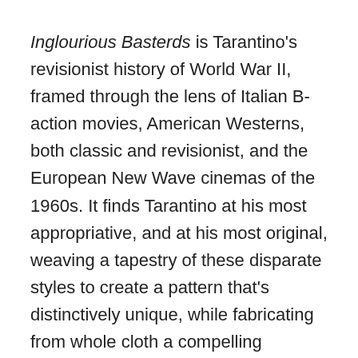Inglourious Basterds is Tarantino's revisionist history of World War II, framed through the lens of Italian B-action movies, American Westerns, both classic and revisionist, and the European New Wave cinemas of the 1960s. It finds Tarantino at his most appropriative, and at his most original, weaving a tapestry of these disparate styles to create a pattern that's distinctively unique, while fabricating from whole cloth a compelling narrative worthy of a 1940s dime store pulp serial. Set in and around occupied Paris, Inglourious Basterds introduces the audience to a cast of misfits – American soldiers, defected former-Nazis, English spies, and one vengeful French Jewish cinema owner – who are brought together by their fervor for killing Nazis. The titular Basterds are a renegade squad made up primarily of American sol...